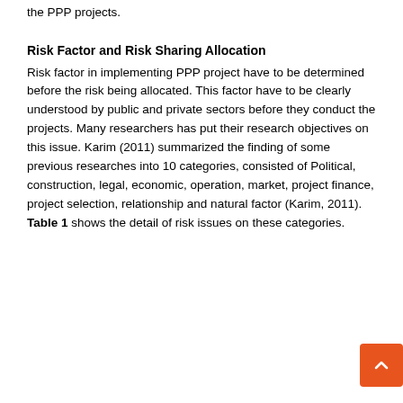the PPP projects.
Risk Factor and Risk Sharing Allocation
Risk factor in implementing PPP project have to be determined before the risk being allocated. This factor have to be clearly understood by public and private sectors before they conduct the projects. Many researchers has put their research objectives on this issue. Karim (2011) summarized the finding of some previous researches into 10 categories, consisted of Political, construction, legal, economic, operation, market, project finance, project selection, relationship and natural factor (Karim, 2011). Table 1 shows the detail of risk issues on these categories.